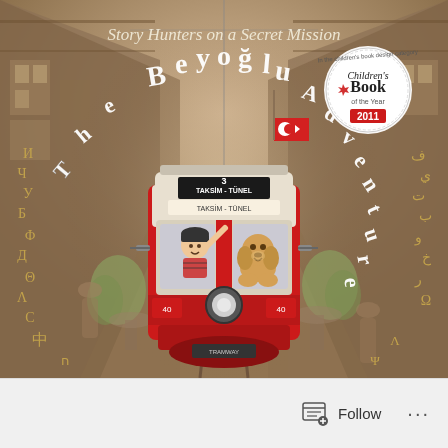[Figure (illustration): Book cover of 'The Beyoğlu Adventure' - Story Hunters on a Secret Mission. Illustrated children's book cover showing a red Istanbul tram (Taksim-Tünel line 3) with a child and dog visible in the window, set in a narrow cobblestone street with historic buildings. Various world scripts appear on the left and right sides. A 'Children's Book of the Year 2011' award badge appears in the top right corner.]
The Beyoğlu Adventure
Story Hunters on a Secret Mission
Follow ...